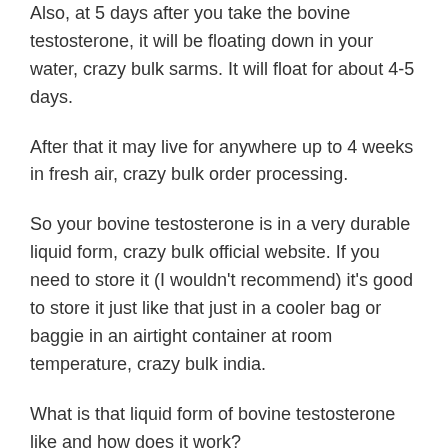Also, at 5 days after you take the bovine testosterone, it will be floating down in your water, crazy bulk sarms. It will float for about 4-5 days.
After that it may live for anywhere up to 4 weeks in fresh air, crazy bulk order processing.
So your bovine testosterone is in a very durable liquid form, crazy bulk official website. If you need to store it (I wouldn't recommend) it's good to store it just like that just in a cooler bag or baggie in an airtight container at room temperature, crazy bulk india.
What is that liquid form of bovine testosterone like and how does it work?
It is actually pretty simple, that's the point, login crazy bulk. You may have thought it